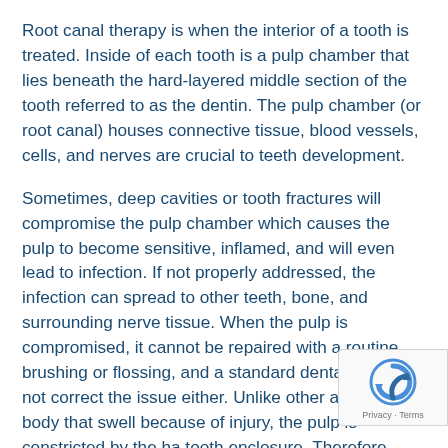Root canal therapy is when the interior of a tooth is treated. Inside of each tooth is a pulp chamber that lies beneath the hard-layered middle section of the tooth referred to as the dentin. The pulp chamber (or root canal) houses connective tissue, blood vessels, cells, and nerves are crucial to teeth development.
Sometimes, deep cavities or tooth fractures will compromise the pulp chamber which causes the pulp to become sensitive, inflamed, and will even lead to infection. If not properly addressed, the infection can spread to other teeth, bone, and surrounding nerve tissue. When the pulp is compromised, it cannot be repaired with a routine brushing or flossing, and a standard dental filling will not correct the issue either. Unlike other areas of the body that swell because of injury, the pulp is constricted by the ha tooth enclosure. Therefore, when inflammation and
[Figure (logo): Google reCAPTCHA badge with circular arrow icon and Privacy - Terms text]